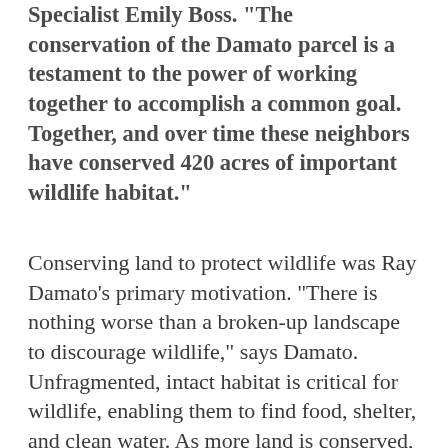Specialist Emily Boss. "The conservation of the Damato parcel is a testament to the power of working together to accomplish a common goal. Together, and over time these neighbors have conserved 420 acres of important wildlife habitat."
Conserving land to protect wildlife was Ray Damato’s primary motivation. “There is nothing worse than a broken-up landscape to discourage wildlife,” says Damato. Unfragmented, intact habitat is critical for wildlife, enabling them to find food, shelter, and clean water. As more land is conserved, especially in large, connected blocks, wildlife can travel safely between food